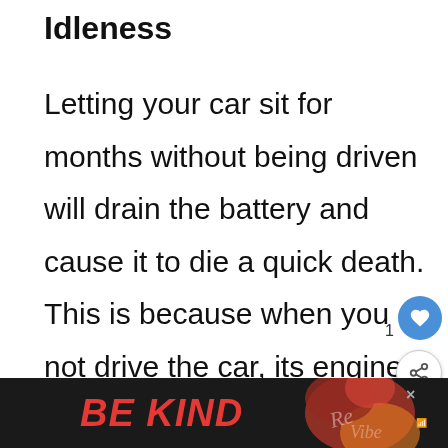Idleness
Letting your car sit for months without being driven will drain the battery and cause it to die a quick death. This is because when you do not drive the car, its engine does not receive any fuel which causes an accumulation of gas vapors that mix with metal particles in the exhaust system causing corrosion on key parts of your vehicle's motor. It also unburned hydrocarbons coming out from poor co... s